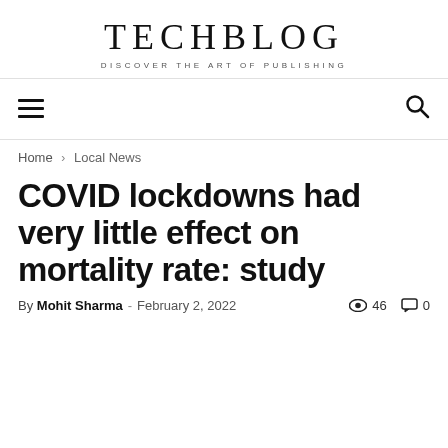TECHBLOG
DISCOVER THE ART OF PUBLISHING
≡  🔍
Home › Local News
COVID lockdowns had very little effect on mortality rate: study
By Mohit Sharma - February 2, 2022  👁 46  💬 0